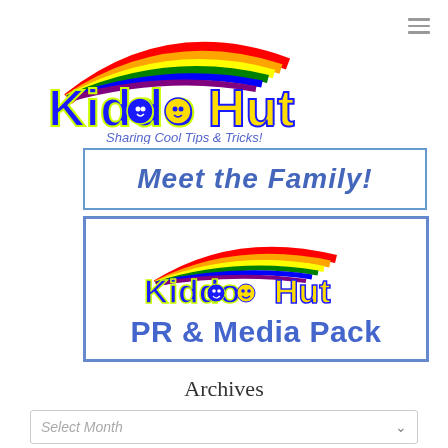[Figure (logo): KiddoHut logo with rainbow and smiley faces, subtitle: Sharing Cool Tips & Tricks!]
Meet the Family!
[Figure (logo): KiddoHut logo inside bordered box with text PR & Media Pack]
Archives
Select Month